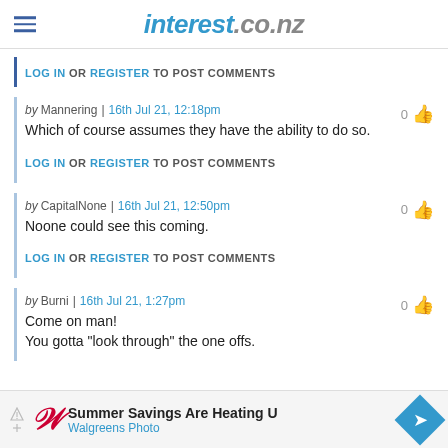interest.co.nz
LOG IN OR REGISTER TO POST COMMENTS
by Mannering | 16th Jul 21, 12:18pm
Which of course assumes they have the ability to do so.
LOG IN OR REGISTER TO POST COMMENTS
by CapitalNone | 16th Jul 21, 12:50pm
Noone could see this coming.
LOG IN OR REGISTER TO POST COMMENTS
by Burni | 16th Jul 21, 1:27pm
Come on man!
You gotta "look through" the one offs.
[Figure (other): Walgreens Photo advertisement banner: Summer Savings Are Heating U]